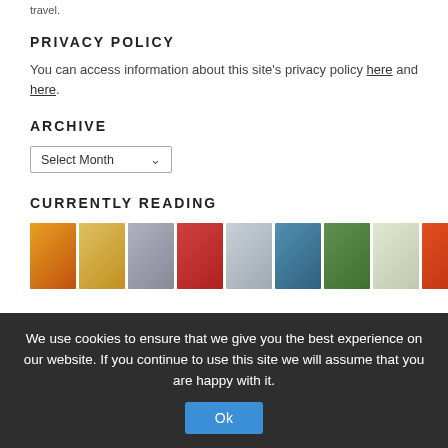travel.
PRIVACY POLICY
You can access information about this site's privacy policy here and here.
ARCHIVE
Select Month
CURRENTLY READING
[Figure (illustration): Row of book covers for currently reading section]
We use cookies to ensure that we give you the best experience on our website. If you continue to use this site we will assume that you are happy with it.